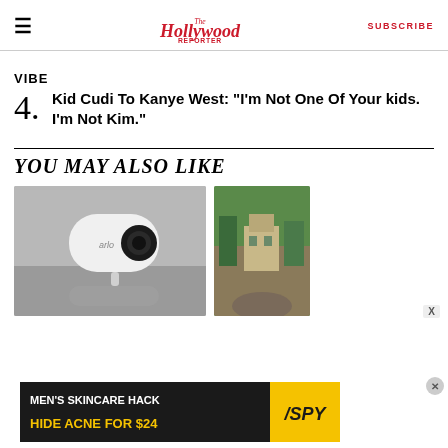The Hollywood Reporter | SUBSCRIBE
VIBE
4. Kid Cudi To Kanye West: "I'm Not One Of Your kids. I'm Not Kim."
YOU MAY ALSO LIKE
[Figure (photo): Arlo security camera product photo on grey reflective surface]
[Figure (photo): Outdoor landscape with stone building on rocky cliff with trees]
[Figure (other): Advertisement: MEN'S SKINCARE HACK HIDE ACNE FOR $24 - SPY brand ad]